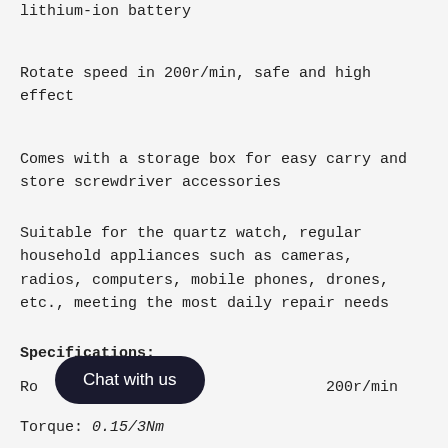wireless design, power by the rechargeable lithium-ion battery
Rotate speed in 200r/min, safe and high effect
Comes with a storage box for easy carry and store screwdriver accessories
Suitable for the quartz watch, regular household appliances such as cameras, radios, computers, mobile phones, drones, etc., meeting the most daily repair needs
Specifications:
Rotate speed: 200r/min
Torque: 0.15/3Nm